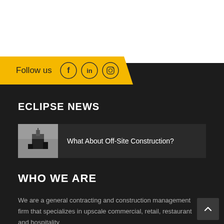Follow us
ECLIPSE NEWS
[Figure (photo): Thumbnail image of a building/sign for the news article about off-site construction]
What About Off-Site Construction?
WHO WE ARE
We are a general contracting and construction management firm that specializes in upscale commercial, retail, restaurant and hospitality